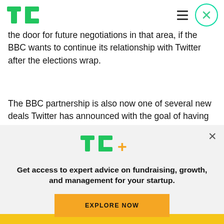TechCrunch logo, hamburger menu, close button
the door for future negotiations in that area, if the BBC wants to continue its relationship with Twitter after the elections wrap.
The BBC partnership is also now one of several new deals Twitter has announced with the goal of having live video available on its site 24/7. This includes recent live streaming agreements for
[Figure (logo): TC+ logo in green and orange/yellow]
Get access to expert advice on fundraising, growth, and management for your startup.
EXPLORE NOW